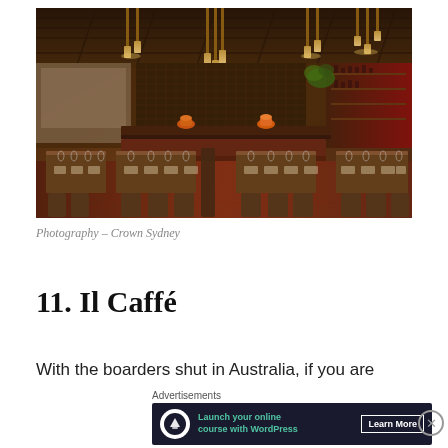[Figure (photo): Interior of a luxurious restaurant dining room with warm amber/gold lighting, hanging pendant lights, set dining tables with glassware, booth seating, and decorative orange vases on a bar counter. Dark wood tones, patterned carpet, and a bar area visible in the background.]
Photography – Crown Sydney
11. Il Caffé
With the boarders shut in Australia, if you are
Advertisements
[Figure (infographic): Dark advertisement banner for WordPress online course with logo icon, teal text 'Launch your online course with WordPress', and a 'Learn More' button.]